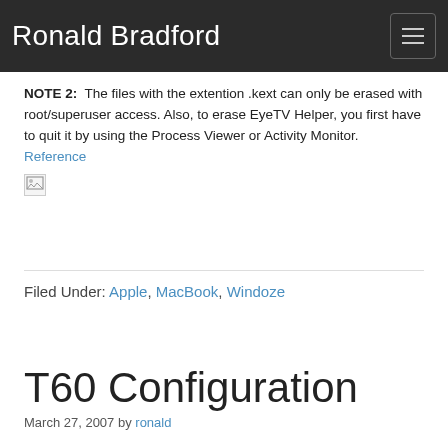Ronald Bradford
NOTE 2:  The files with the extention .kext can only be erased with root/superuser access. Also, to erase EyeTV Helper, you first have to quit it by using the Process Viewer or Activity Monitor.
Reference
[Figure (photo): Broken/missing image placeholder]
Filed Under: Apple, MacBook, Windoze
T60 Configuration
March 27, 2007 by ronald